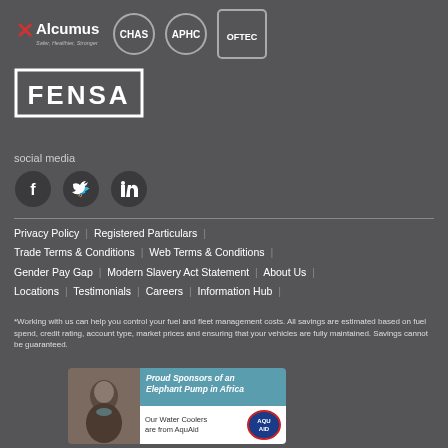[Figure (logo): Alcumus logo with tagline 'Safer, Healthier, Stronger', CHAS logo (circle), APHC logo (circle), OFTEC logo (circle with badge)]
[Figure (logo): FENSA logo in white box with border]
social media
[Figure (other): Social media icons: Facebook, Twitter, LinkedIn in dark circles]
Privacy Policy | Registered Particulars | Trade Terms & Conditions | Web Terms & Conditions | Gender Pay Gap | Modern Slavery Act Statement | About Us | Locations | Testimonials | Careers | Information Hub |
*Working with us can help you control your fuel and fleet management costs. All savings are estimated based on fuel spend, credit rating, account type, market prices and ensuring that your vehicles are fully maintained. Savings cannot be guaranteed.
[Figure (photo): AquAid banner: Proud Sponsors of an Elephant Pump in Africa. Our Water Coolers are from AquAid. Shows child drinking water.]